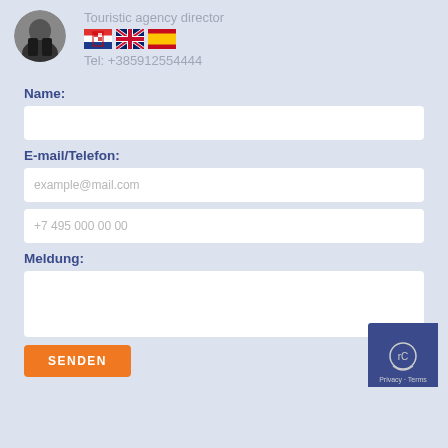[Figure (photo): Circular avatar photo of a person (touristic agency director)]
Touristic agency director
[Figure (illustration): Three flag icons: Croatian flag, UK flag, Spanish flag]
Tel: +385912554444
Name:
E-mail/Telefon:
example@mail.com
+7 495 000 00 00
Meldung:
SENDEN